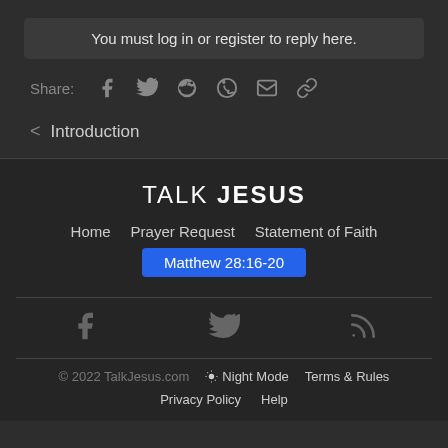You must log in or register to reply here.
Share: [facebook] [twitter] [reddit] [whatsapp] [email] [link]
< Introduction
TALK JESUS
Home  Prayer Request  Statement of Faith
Matthew 28:16-20
[Figure (other): Social media icons: Facebook, Twitter, RSS feed]
© 2022 TalkJesus.com  Night Mode  Terms & Rules  Privacy Policy  Help